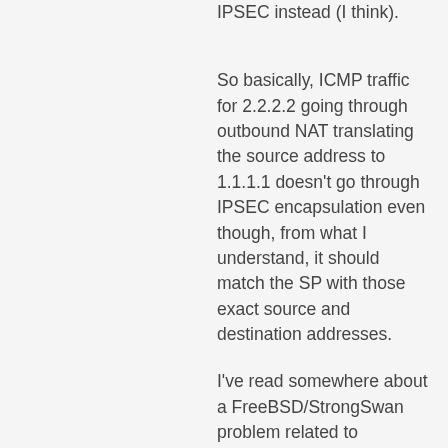IPSEC instead (I think).
So basically, ICMP traffic for 2.2.2.2 going through outbound NAT translating the source address to 1.1.1.1 doesn't go through IPSEC encapsulation even though, from what I understand, it should match the SP with those exact source and destination addresses.
I've read somewhere about a FreeBSD/StrongSwan problem related to performing NAT before IPSEC encapsulation but I am not sure whether it's relevant to my case or if it's out-of-date information. I've tried to understand/debug the flow but I haven't found anything to help me sort out this situation. On top of that I've found no decent way to trace the flow of the packets involved through the networking stack, although I will admit that I work mostly on Linux platforms and my knowledge of FreeBSD pales in